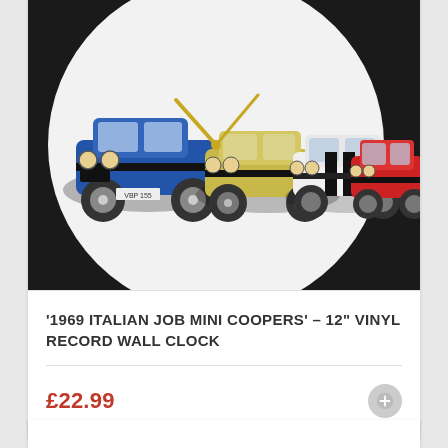[Figure (photo): A 12-inch vinyl record wall clock featuring the 1969 Italian Job Mini Coopers — a blue, yellow/cream, white, and red Mini Cooper parked side by side on a white circular vinyl record background, with gold clock hands, set against a black background.]
'1969 ITALIAN JOB MINI COOPERS' – 12" VINYL RECORD WALL CLOCK
£22.99